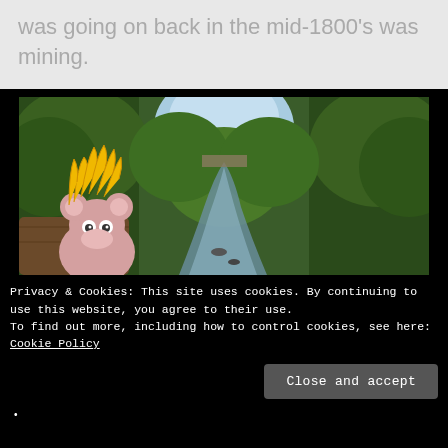was going on back in the mid-1800's was mining.
[Figure (photo): A cartoon mouse toy with yellow hair in the foreground, with a creek or stream surrounded by green trees in the background.]
Privacy & Cookies: This site uses cookies. By continuing to use this website, you agree to their use.
To find out more, including how to control cookies, see here: Cookie Policy
Close and accept